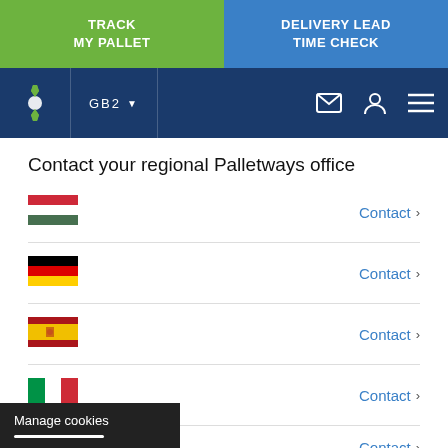TRACK MY PALLET
DELIVERY LEAD TIME CHECK
[Figure (logo): Palletways star logo in white on dark blue navigation bar with GB2 region selector and mail, user, menu icons]
Contact your regional Palletways office
Hungary - Contact
Germany - Contact
Spain - Contact
Italy - Contact
Contact (partial, at bottom)
Manage cookies